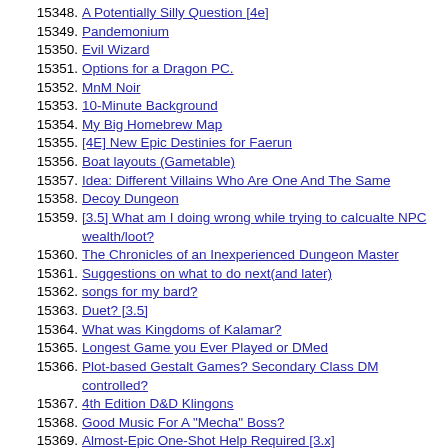15348. A Potentially Silly Question [4e]
15349. Pandemonium
15350. Evil Wizard
15351. Options for a Dragon PC.
15352. MnM Noir
15353. 10-Minute Background
15354. My Big Homebrew Map
15355. [4E] New Epic Destinies for Faerun
15356. Boat layouts (Gametable)
15357. Idea: Different Villains Who Are One And The Same
15358. Decoy Dungeon
15359. [3.5] What am I doing wrong while trying to calcualte NPC wealth/loot?
15360. The Chronicles of an Inexperienced Dungeon Master
15361. Suggestions on what to do next(and later)
15362. songs for my bard?
15363. Duet? [3.5]
15364. What was Kingdoms of Kalamar?
15365. Longest Game you Ever Played or DMed
15366. Plot-based Gestalt Games? Secondary Class DM controlled?
15367. 4th Edition D&D Klingons
15368. Good Music For A "Mecha" Boss?
15369. Almost-Epic One-Shot Help Required [3.x]
15370. Time Travel RPG?
15371. Combat and Role Play, Mutually Exclusive?
15372. [4e] Really stupid question
15373. What are ways to improve my Turning Check?
15374. [4e] Warlocks with staves
15375. Orcish Spellcasters?